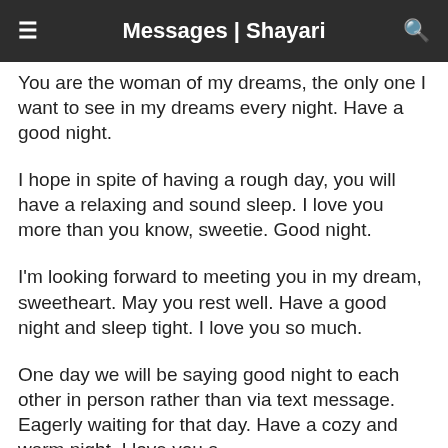Messages | Shayari
You are the woman of my dreams, the only one I want to see in my dreams every night. Have a good night.
I hope in spite of having a rough day, you will have a relaxing and sound sleep. I love you more than you know, sweetie. Good night.
I'm looking forward to meeting you in my dream, sweetheart. May you rest well. Have a good night and sleep tight. I love you so much.
One day we will be saying good night to each other in person rather than via text message. Eagerly waiting for that day. Have a cozy and warm night. I love you a